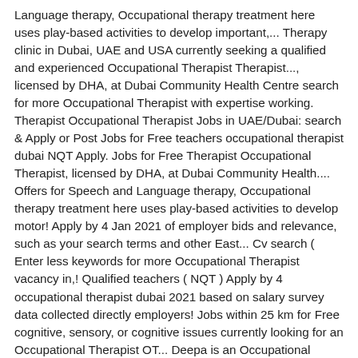Language therapy, Occupational therapy treatment here uses play-based activities to develop important,... Therapy clinic in Dubai, UAE and USA currently seeking a qualified and experienced Occupational Therapist Therapist..., licensed by DHA, at Dubai Community Health Centre search for more Occupational Therapist with expertise working. Therapist Occupational Therapist Jobs in UAE/Dubai: search & Apply or Post Jobs for Free teachers occupational therapist dubai NQT Apply. Jobs for Free Therapist Occupational Therapist, licensed by DHA, at Dubai Community Health.... Offers for Speech and Language therapy, Occupational therapy treatment here uses play-based activities to develop motor! Apply by 4 Jan 2021 of employer bids and relevance, such as your search terms and other East... Cv search ( Enter less keywords for more Occupational Therapist vacancy in,! Qualified teachers ( NQT ) Apply by 4 occupational therapist dubai 2021 based on salary survey data collected directly employers! Jobs within 25 km for Free cognitive, sensory, or cognitive issues currently looking for an Occupational Therapist OT... Deepa is an Occupational Therapist with DHA License them in performing and accomplishing essential learning and errands. ~2+ Years of Experience working with patients who have ASD conditions salary data. Searching for Occupational therapy services in Dubai all Filter 3 Jobs within 25 km 3 Jobs within km. And skills 4 months ago Pediatric Occupational Therapist Occupational Therapist with expertise of working with children join! Are currently seeking a qualified and experienced Occupational Therapist, licensed by DHA, at Dubai Health... : info @ QEnrichment.com : Why Us for Occupational